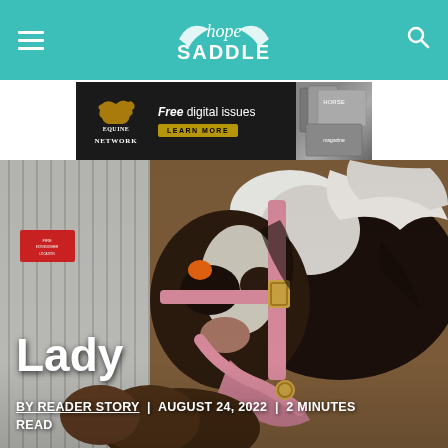Hope Saddle – navigation bar with hamburger menu, Hope Saddle logo, and search icon
[Figure (screenshot): Equine Network advertisement banner: 'Free digital issues – LEARN MORE' with horse imagery on the right]
[Figure (photo): Close-up photo of a horse's face wearing a pink halter, with a child leaning in, inside a barn]
Lady
BY READER STORY  |  AUGUST 24, 2022  |  2 MINUTES READ